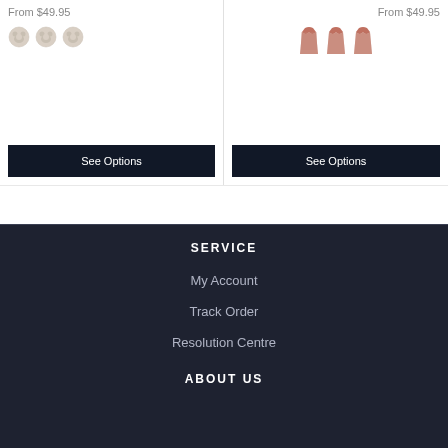From $49.95
[Figure (illustration): Three small animal/bear swatch icons in light beige/cream color]
See Options
From $49.95
[Figure (illustration): Three small dress swatch icons in pink/rose floral color]
See Options
SERVICE
My Account
Track Order
Resolution Centre
ABOUT US